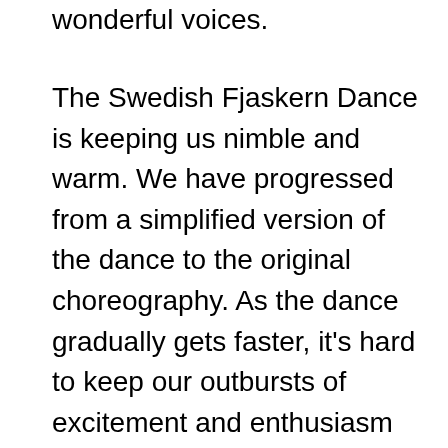wonderful voices.
The Swedish Fjaskern Dance is keeping us nimble and warm. We have progressed from a simplified version of the dance to the original choreography. As the dance gradually gets faster, it's hard to keep our outbursts of excitement and enthusiasm from slowing us down. It reminds us that to be successful in this dance, as is the case with many performance activities, we have be our own 'watch-dog'. This can be tough. Staying on task and learning to self talk our way through challenges, so that we can achieve precise and successful outcomes, requires us to keep our emotions in check. Whether we are performing in Sports or in the Arts, this is a big factor in our